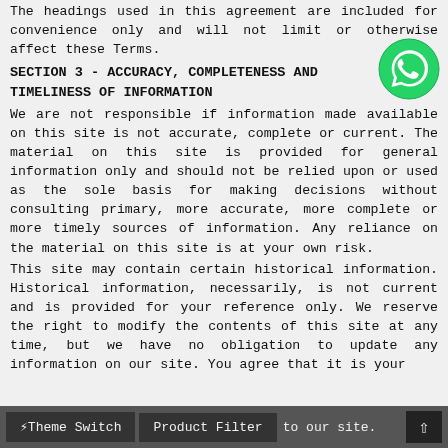The headings used in this agreement are included for convenience only and will not limit or otherwise affect these Terms.
SECTION 3 - ACCURACY, COMPLETENESS AND TIMELINESS OF INFORMATION
[Figure (logo): WhatsApp green circle logo with white phone handset icon]
We are not responsible if information made available on this site is not accurate, complete or current. The material on this site is provided for general information only and should not be relied upon or used as the sole basis for making decisions without consulting primary, more accurate, more complete or more timely sources of information. Any reliance on the material on this site is at your own risk.
This site may contain certain historical information. Historical information, necessarily, is not current and is provided for your reference only. We reserve the right to modify the contents of this site at any time, but we have no obligation to update any information on our site. You agree that it is your
⚡Theme Switch   Product Filter   to our site.